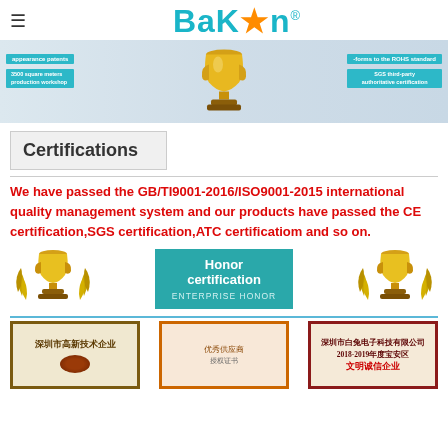BaKon
[Figure (photo): Banner image showing trophy award with teal arrow labels: 'appearance patents', '3500 square meters production workshop', '-forms to the ROHS standard', 'SGS third-party authoritative certification']
Certifications
We have passed the GB/TI9001-2016/ISO9001-2015 international quality management system and our products have passed the CE certification,SGS certification,ATC certificatiom and so on.
[Figure (illustration): Row of certification images: gold trophy with laurel on left, teal 'Honor certification - ENTERPRISE HONOR' card in center, gold trophy with laurel on right]
[Figure (photo): Row of three award plaques: '深圳市高新技术企业' plaque, Alibaba/award certificate in center, '深圳市白兔电子科技有限公司 2018-2019年度宝安区 文明诚信企业' plaque on right]